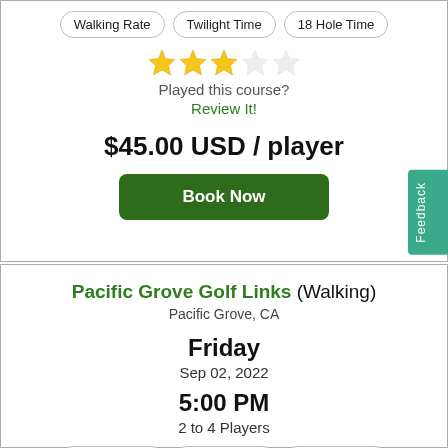Walking Rate | Twilight Time | 18 Hole Time
[Figure (other): 3 out of 5 star rating with 3 filled gold stars and 2 empty stars]
Played this course?
Review It!
$45.00 USD / player
Book Now
Pacific Grove Golf Links (Walking)
Pacific Grove, CA
Friday
Sep 02, 2022
5:00 PM
2 to 4 Players
Walking Rate | Twilight Time | 18 Hole Time